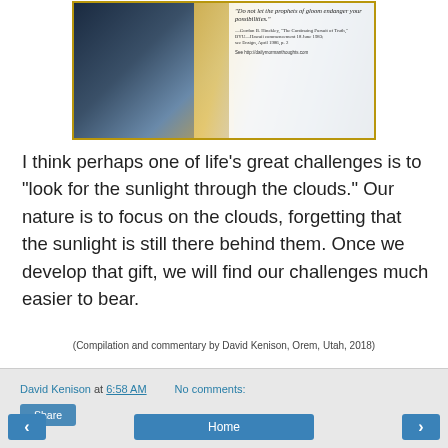[Figure (photo): Photograph of sunlight breaking through clouds with a quote overlay reading 'Do not let the prophets of gloom endanger your possibilities.' attributed to Gordon B. Hinckley, with URL See http://dailymormanthoughts.com]
I think perhaps one of life's great challenges is to "look for the sunlight through the clouds." Our nature is to focus on the clouds, forgetting that the sunlight is still there behind them. Once we develop that gift, we will find our challenges much easier to bear.
(Compilation and commentary by David Kenison, Orem, Utah, 2018)
David Kenison at 6:58 AM   No comments:
Share
< Home >